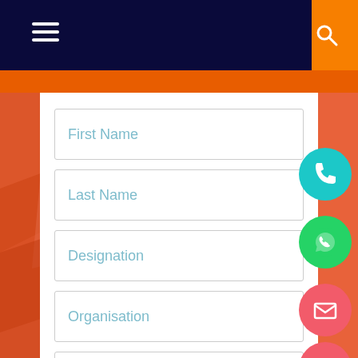Navigation header with hamburger menu and search icon
First Name
Last Name
Designation
Organisation
Phone Number
Email Add...